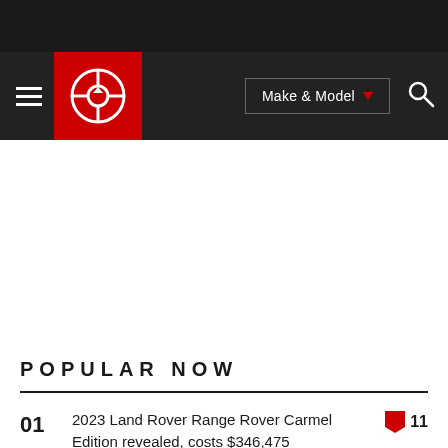Car and Driver website navigation bar with logo, Make & Model dropdown, and search icon
POPULAR NOW
01 — 2023 Land Rover Range Rover Carmel Edition revealed, costs $346,475 — 11 flags